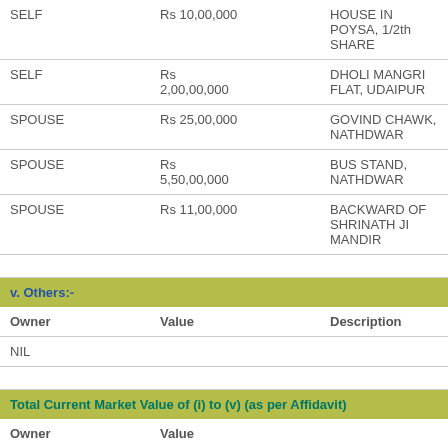| Owner | Value | Description |
| --- | --- | --- |
| SELF | Rs 10,00,000 | HOUSE IN POYSA, 1/2th SHARE |
| SELF | Rs 2,00,00,000 | DHOLI MANGRI FLAT, UDAIPUR |
| SPOUSE | Rs 25,00,000 | GOVIND CHAWK, NATHDWAR |
| SPOUSE | Rs 5,50,00,000 | BUS STAND, NATHDWAR |
| SPOUSE | Rs 11,00,000 | BACKWARD OF SHRINATH JI MANDIR |
v. Others:-
| Owner | Value | Description |
| --- | --- | --- |
| NIL |  |  |
Total Current Market Value of (i) to (v) (as per Affidavit)
| Owner | Value |
| --- | --- |
Disclaimer: This information is an archive of the candidate's self-declared affidavit that was filed during the elections. The current status of this information may be different. For the latest available information, please refer to the affidavit filed by the candidate to